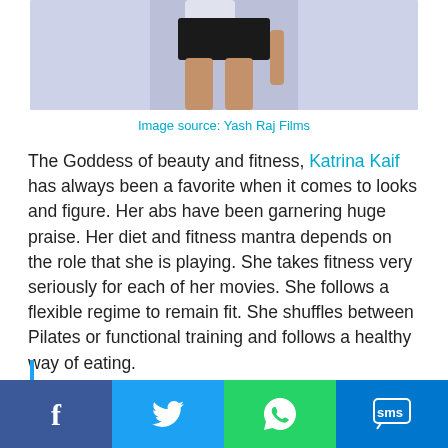[Figure (photo): Cropped photo of a woman (Katrina Kaif) showing legs and midsection against a light background]
Image source: Yash Raj Films
The Goddess of beauty and fitness, Katrina Kaif has always been a favorite when it comes to looks and figure. Her abs have been garnering huge praise. Her diet and fitness mantra depends on the role that she is playing. She takes fitness very seriously for each of her movies. She follows a flexible regime to remain fit. She shuffles between Pilates or functional training and follows a healthy way of eating.
[Figure (screenshot): Social media share bar with Facebook, Twitter, WhatsApp, and SMS buttons]